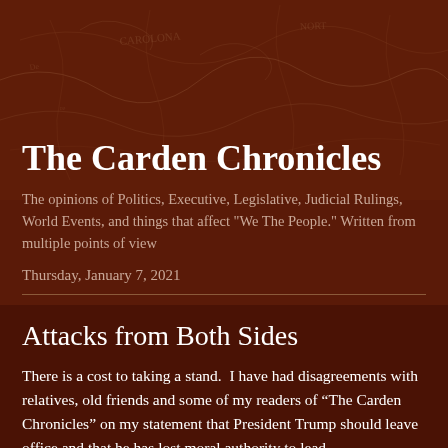The Carden Chronicles
The opinions of Politics, Executive, Legislative, Judicial Rulings, World Events, and things that affect "We The People." Written from multiple points of view
Thursday, January 7, 2021
Attacks from Both Sides
There is a cost to taking a stand.  I have had disagreements with relatives, old friends and some of my readers of “The Carden Chronicles” on my statement that President Trump should leave office and that he has lost moral authority to lead.